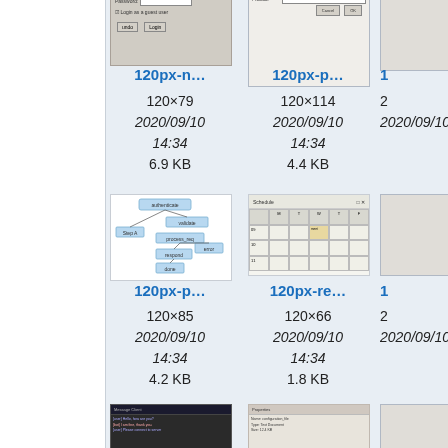[Figure (screenshot): Thumbnail of login dialog screenshot, partially visible at top]
120px-n…
120×79
2020/09/10
14:34
6.9 KB
[Figure (screenshot): Thumbnail of a software dialog screenshot]
120px-p…
120×114
2020/09/10
14:34
4.4 KB
[Figure (flowchart): Thumbnail of a flowchart diagram with blue boxes]
120px-p…
120×85
2020/09/10
14:34
4.2 KB
[Figure (screenshot): Thumbnail of a calendar/schedule screenshot]
120px-re…
120×66
2020/09/10
14:34
1.8 KB
[Figure (screenshot): Thumbnail of a messaging software screenshot, partially visible]
[Figure (screenshot): Thumbnail of a web page screenshot, partially visible]